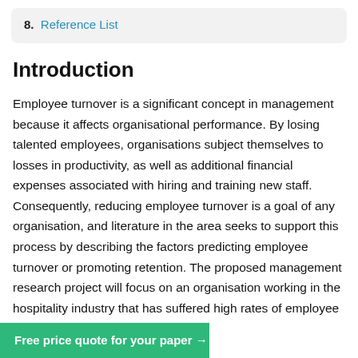8. Reference List
Introduction
Employee turnover is a significant concept in management because it affects organisational performance. By losing talented employees, organisations subject themselves to losses in productivity, as well as additional financial expenses associated with hiring and training new staff. Consequently, reducing employee turnover is a goal of any organisation, and literature in the area seeks to support this process by describing the factors predicting employee turnover or promoting retention. The proposed management research project will focus on an organisation working in the hospitality industry that has suffered high rates of employee turnover lately. The
Free price quote for your paper →